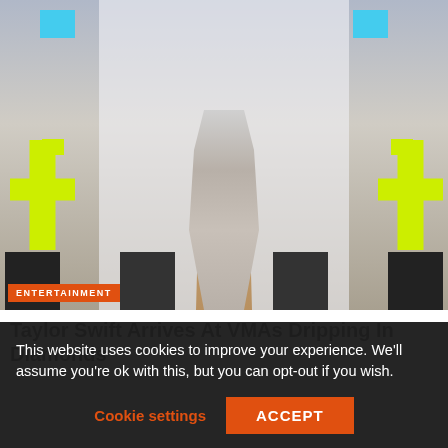[Figure (photo): Taylor Swift on the VMAs red carpet wearing a short silver sparkly/diamond dress in front of an MTV VMAs backdrop with neon yellow MTV logo figures and trophy bases. An orange ENTERTAINMENT badge is overlaid at the bottom left of the image.]
Taylor Swift Arrives At VMAs Dripping In Diamonds
This website uses cookies to improve your experience. We'll assume you're ok with this, but you can opt-out if you wish.
Cookie settings
ACCEPT